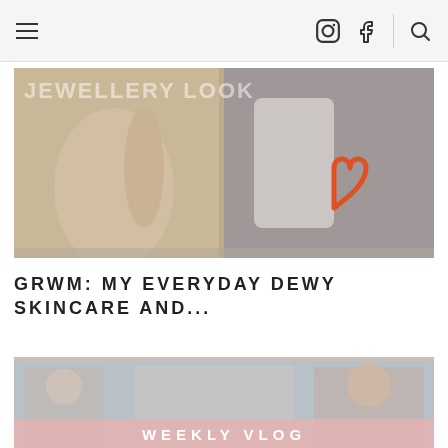Navigation header with hamburger menu, Instagram icon, Facebook icon, search icon
[Figure (photo): Thumbnail image for GRWM skincare post showing two side-by-side panels: left panel shows a hand with a ring, right panel shows a woman in white with an orange hand-drawn heart, text overlay 'JEWELLERY LOOK']
GRWM: MY EVERYDAY DEWY SKINCARE AND...
[Figure (photo): Thumbnail image for Weekly Vlog post showing a woman in a fitness/lifestyle setting with a pink banner at the bottom reading 'WEEKLY VLOG']